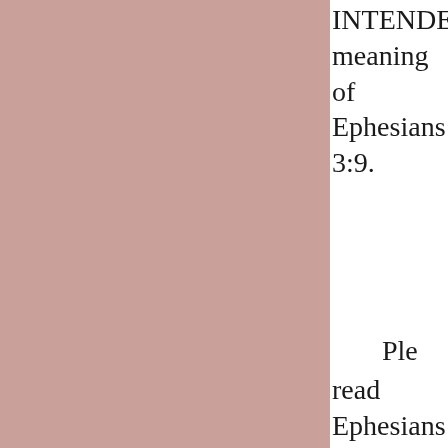[Figure (other): Solid mauve/pink rectangular panel occupying the left two-thirds of the page]
INTENDED meaning of Ephesians 3:9.
Please read Ephesians 3:1-13.
“For this cause, I